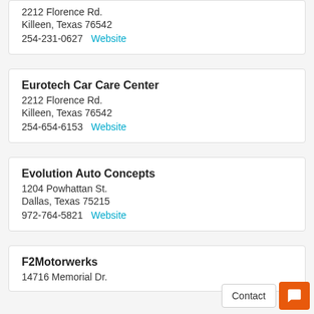2212 Florence Rd.
Killeen, Texas 76542
254-231-0627  Website
Eurotech Car Care Center
2212 Florence Rd.
Killeen, Texas 76542
254-654-6153  Website
Evolution Auto Concepts
1204 Powhattan St.
Dallas, Texas 75215
972-764-5821  Website
F2Motorwerks
14716 Memorial Dr.